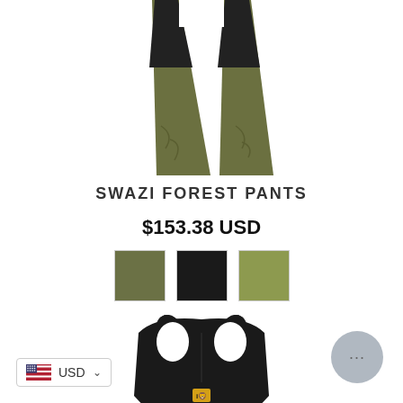[Figure (photo): Product photo of Swazi Forest Pants in olive/khaki and black colorblock, showing lower half of pants from waist down]
SWAZI FOREST PANTS
$153.38 USD
[Figure (other): Three color swatches: dark olive/khaki, black, and lighter olive/khaki]
[Figure (photo): Product photo of a black sports bra with yellow logo visible at front center]
USD
[Figure (other): Chat button - circular grey button with ellipsis icon]